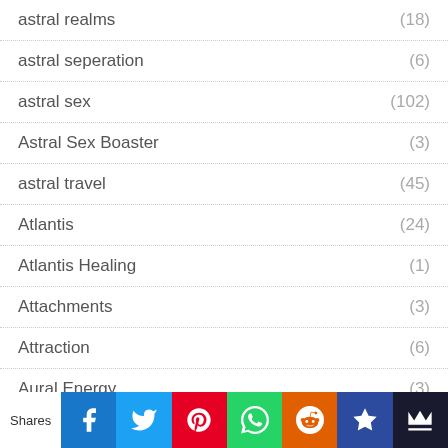astral realms (18)
astral seperation (6)
astral sex (102)
Astral Sex Boaster (3)
astral travel (45)
Atlantis (24)
Atlantis Healing (1)
Attachments (3)
Attraction (6)
Aural Energy (3)
Bad Habit (1)
Shares | Facebook | Twitter | Pinterest | WhatsApp | Reddit | Bookmark | Crown